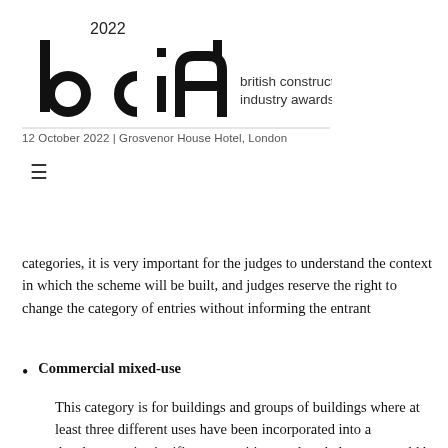[Figure (logo): BCIA 2022 British Construction Industry Awards logo with stylized 'bcia' letterforms and text 'british construction industry awards']
12 October 2022 | Grosvenor House Hotel, London
≡
categories, it is very important for the judges to understand the context in which the scheme will be built, and judges reserve the right to change the category of entries without informing the entrant
Commercial mixed-use
This category is for buildings and groups of buildings where at least three different uses have been incorporated into a development in significant quantities – cultural elements could be included provided the overall quantum of the proposal is